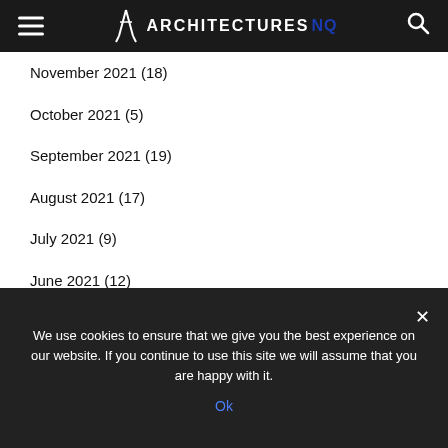Architectures NQ
November 2021 (18)
October 2021 (5)
September 2021 (19)
August 2021 (17)
July 2021 (9)
June 2021 (12)
May 2021 (16)
March 2021 (15)
February 2021 (7)
We use cookies to ensure that we give you the best experience on our website. If you continue to use this site we will assume that you are happy with it.
Ok